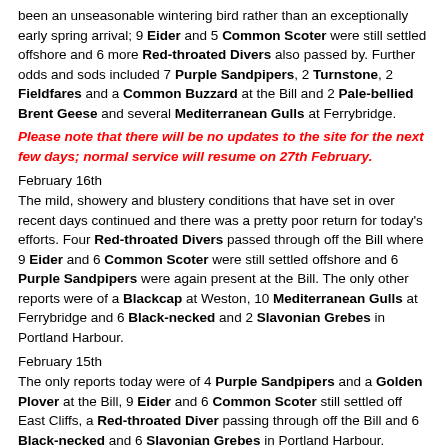been an unseasonable wintering bird rather than an exceptionally early spring arrival; 9 Eider and 5 Common Scoter were still settled offshore and 6 more Red-throated Divers also passed by. Further odds and sods included 7 Purple Sandpipers, 2 Turnstone, 2 Fieldfares and a Common Buzzard at the Bill and 2 Pale-bellied Brent Geese and several Mediterranean Gulls at Ferrybridge.
Please note that there will be no updates to the site for the next few days; normal service will resume on 27th February.
February 16th
The mild, showery and blustery conditions that have set in over recent days continued and there was a pretty poor return for today's efforts. Four Red-throated Divers passed through off the Bill where 9 Eider and 6 Common Scoter were still settled offshore and 6 Purple Sandpipers were again present at the Bill. The only other reports were of a Blackcap at Weston, 10 Mediterranean Gulls at Ferrybridge and 6 Black-necked and 2 Slavonian Grebes in Portland Harbour.
February 15th
The only reports today were of 4 Purple Sandpipers and a Golden Plover at the Bill, 9 Eider and 6 Common Scoter still settled off East Cliffs, a Red-throated Diver passing through off the Bill and 6 Black-necked and 6 Slavonian Grebes in Portland Harbour.